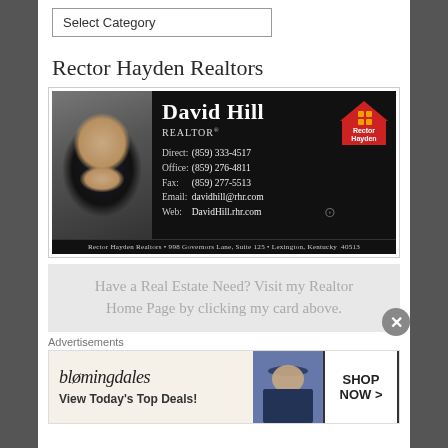Select Category
Rector Hayden Realtors
[Figure (photo): Business card for David Hill, Realtor at Rector Hayden Realtors. Direct: (859) 333-4517, Office: (859) 276-4811, Fax: (859) 277-5513, Email: davidhill@rhr.com, Web: DavidHill.rhr.com. Address: 998 Governors Lane, Suite 125, Lexington, Kentucky 40513]
Have a Real Estate Need? Visit my Realtor Home Page by clicking my card above.
Advertisements
[Figure (photo): Bloomingdales advertisement banner. Text: bloomingdales, View Today's Top Deals!, SHOP NOW >]